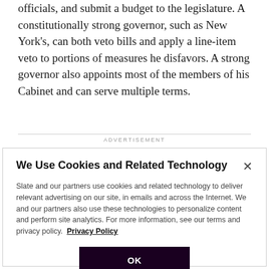officials, and submit a budget to the legislature. A constitutionally strong governor, such as New York's, can both veto bills and apply a line-item veto to portions of measures he disfavors. A strong governor also appoints most of the members of his Cabinet and can serve multiple terms.
ADVERTISEMENT
We Use Cookies and Related Technology
Slate and our partners use cookies and related technology to deliver relevant advertising on our site, in emails and across the Internet. We and our partners also use these technologies to personalize content and perform site analytics. For more information, see our terms and privacy policy.  Privacy Policy
OK